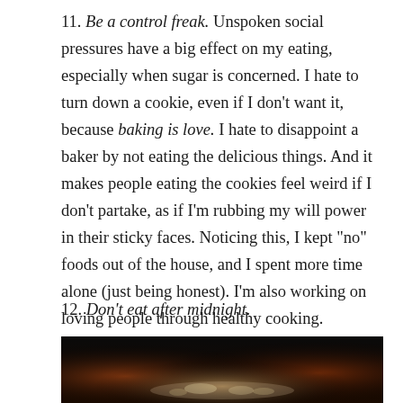11. Be a control freak. Unspoken social pressures have a big effect on my eating, especially when sugar is concerned. I hate to turn down a cookie, even if I don't want it, because baking is love. I hate to disappoint a baker by not eating the delicious things. And it makes people eating the cookies feel weird if I don't partake, as if I'm rubbing my will power in their sticky faces. Noticing this, I kept “no” foods out of the house, and I spent more time alone (just being honest). I’m also working on loving people through healthy cooking.
12. Don’t eat after midnight.
[Figure (photo): Close-up food photo on dark/black background showing what appears to be chocolate or baked goods with light-colored toppings or garnish]